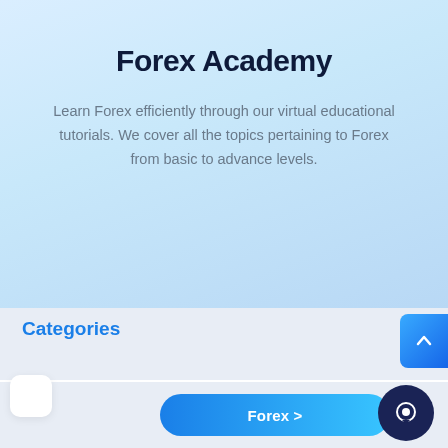Forex Academy
Learn Forex efficiently through our virtual educational tutorials. We cover all the topics pertaining to Forex from basic to advance levels.
[Figure (illustration): Illustration of a young woman smiling and looking down, with floating UI cards showing candlestick chart, a globe/radar icon, and a timer/clock icon]
Categories
Forex >